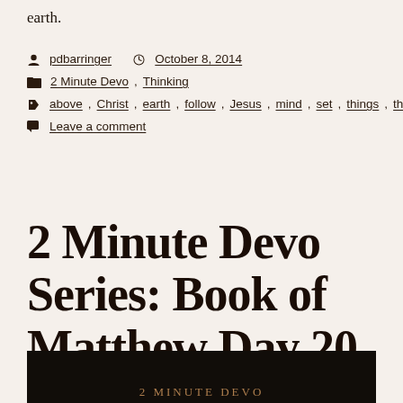earth.
pdbarringer  October 8, 2014
2 Minute Devo, Thinking
above, Christ, earth, follow, Jesus, mind, set, things, thinking
Leave a comment
2 Minute Devo Series: Book of Matthew Day 20
[Figure (photo): Dark background image with text reading '2 Minute Devo' in decorative serif font with orange/tan color]